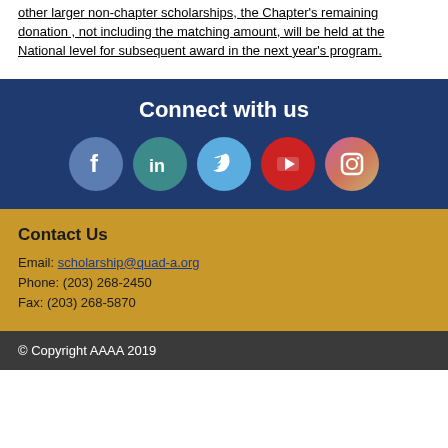other larger non-chapter scholarships, the Chapter's remaining donation , not including the matching amount, will be held at the National level for subsequent award in the next year's program.
Connect with us
[Figure (infographic): Row of five social media icons: Facebook (blue-grey circle), LinkedIn (teal circle), Twitter (light blue circle), YouTube (red circle), Instagram (gradient purple-orange circle)]
Contact Us
Email: scholarship@quad-a.org
Phone: (203) 268-2450
Fax: (203) 268-5870
© Copyright AAAA 2019